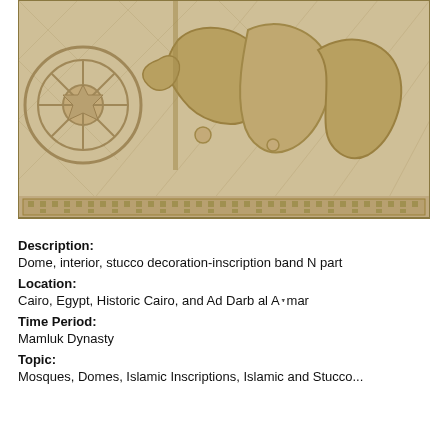[Figure (photo): Close-up photograph of stone or stucco carved architectural decoration showing Arabic calligraphic inscription band and geometric/floral ornamental patterns on a dome interior, from historic Cairo. The stone surface is light beige/cream colored with intricate carved relief work including a rosette/wheel pattern on the left and large Arabic script letters.]
Description:
Dome, interior, stucco decoration-inscription band N part
Location:
Cairo, Egypt, Historic Cairo, and Ad Darb al Aḥmar
Time Period:
Mamluk Dynasty
Topic:
Mosques, Domes, Islamic Inscriptions, Islamic and Stucco...